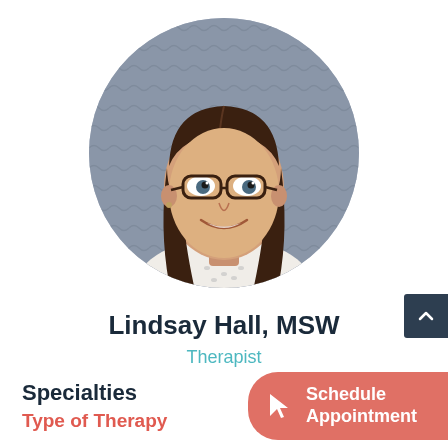[Figure (photo): Circular profile photo of Lindsay Hall, MSW — a young woman with long brown hair, glasses, wearing a white patterned top, smiling, against a blurred grey background.]
Lindsay Hall, MSW
Therapist
Specialties
Type of Therapy